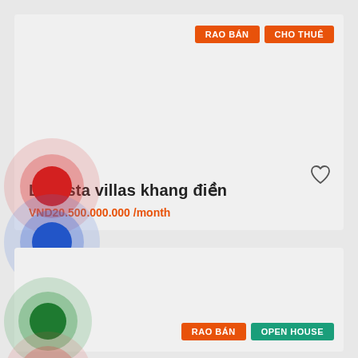[Figure (screenshot): Real estate listing card with RAO BAN and CHO THUE badges, heart icon, property title 'Lucasta villas khang dien', price 'VND20.500.000.000 /month', overlapping colored circle markers (red, blue, green), and a second card with RAO BAN and OPEN HOUSE badges]
Lucasta villas khang điền
VND20.500.000.000 /month